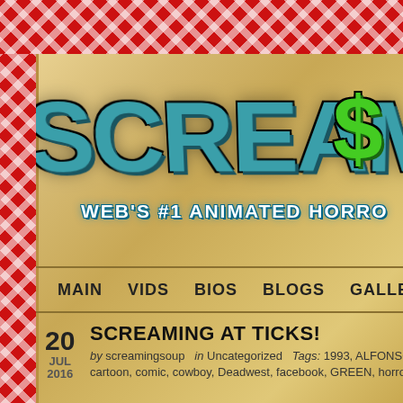[Figure (logo): SCREAMING (partially visible, logo in large teal graffiti-style font) with green letters partially visible on the right. Subtitle: WEB'S #1 ANIMATED HORRO (cut off)]
SCREAMING AT TICKS!
by screamingsoup  in Uncategorized  Tags: 1993, ALFONSO, cartoon, comic, cowboy, Deadwest, facebook, GREEN, horror,